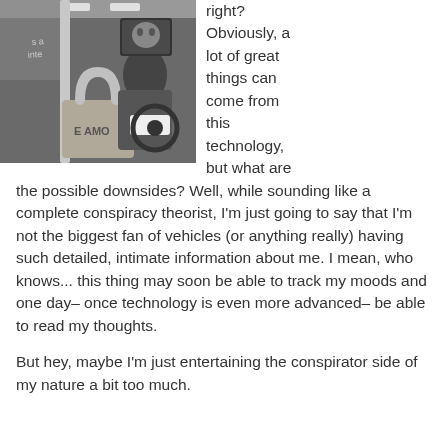[Figure (photo): A person sitting in a car interior, visible through an open door. A large padlock with 'E AMO' engraved is visible in the foreground. A rearview mirror reflection shows the driver's face.]
right? Obviously, a lot of great things can come from this technology, but what are the possible downsides? Well, while sounding like a complete conspiracy theorist, I'm just going to say that I'm not the biggest fan of vehicles (or anything really) having such detailed, intimate information about me. I mean, who knows... this thing may soon be able to track my moods and one day– once technology is even more advanced– be able to read my thoughts.
But hey, maybe I'm just entertaining the conspirator side of my nature a bit too much.